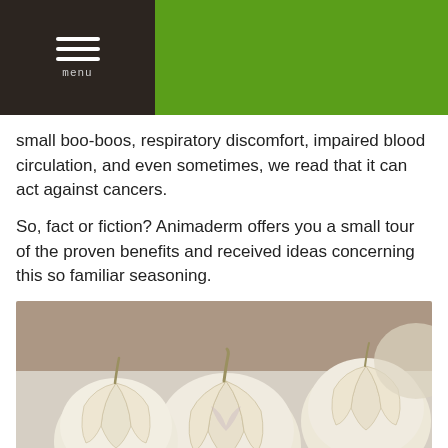menu
small boo-boos, respiratory discomfort, impaired blood circulation, and even sometimes, we read that it can act against cancers.
So, fact or fiction? Animaderm offers you a small tour of the proven benefits and received ideas concerning this so familiar seasoning.
[Figure (photo): Photo of multiple white/cream garlic bulbs with papery skin arranged on a light wooden surface, some whole and some showing individual cloves.]
2. Is garlic safe for the horse?